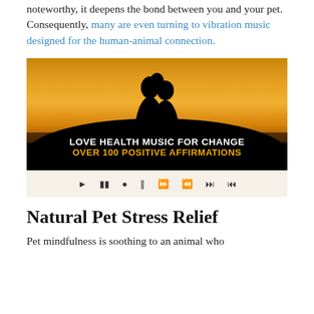noteworthy, it deepens the bond between you and your pet. Consequently, many are even turning to vibration music designed for the human-animal connection.
[Figure (photo): A silhouette of two figures (person and pet) against a golden sunset sky, with music player controls at the bottom. Text overlay reads: LOVE HEALTH MUSIC FOR CHANGE / OVER 100 POSITIVE AFFIRMATIONS]
Natural Pet Stress Relief
Pet mindfulness is soothing to an animal who